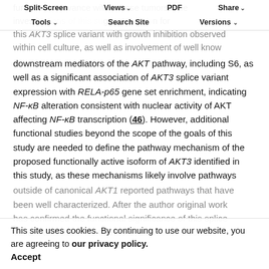functional relevance within these tumors. The investigations of this study suggest functional for this AKT3 splice variant with growth inhibition observed within cell culture, as well as involvement of well know downstream mediators of the AKT pathway, including S6, as well as a significant association of AKT3 splice variant expression with RELA-p65 gene set enrichment, indicating NF-κB alteration consistent with nuclear activity of AKT affecting NF-κB transcription (46). However, additional functional studies beyond the scope of the goals of this study are needed to define the pathway mechanism of the proposed functionally active isoform of AKT3 identified in this study, as these mechanisms likely involve pathways outside of canonical AKT1 reported pathways that have been well characterized. After the author original work has confirmed the functional significance of this splice variant alteration. Furthermore, additional studies...
This site uses cookies. By continuing to use our website, you are agreeing to our privacy policy. Accept